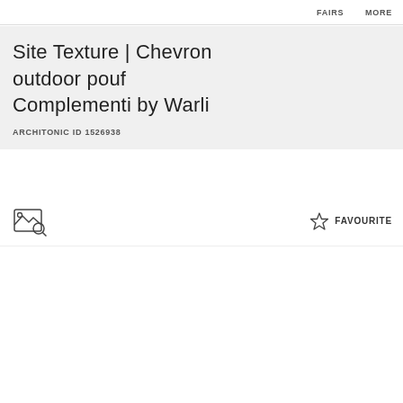FAIRS MORE
Site Texture | Chevron outdoor pouf Complementi by Warli
ARCHITONIC ID 1526938
[Figure (illustration): Image search icon (photo with magnifying glass)]
FAVOURITE